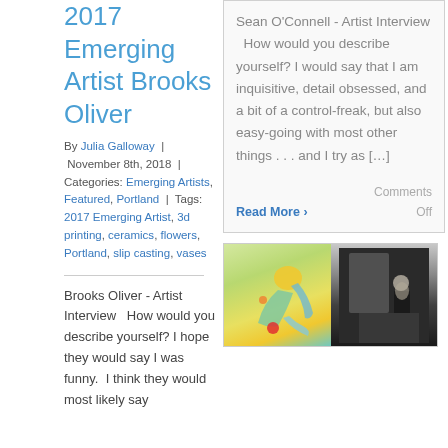2017 Emerging Artist Brooks Oliver
By Julia Galloway | November 8th, 2018 | Categories: Emerging Artists, Featured, Portland | Tags: 2017 Emerging Artist, 3d printing, ceramics, flowers, Portland, slip casting, vases
Brooks Oliver - Artist Interview   How would you describe yourself? I hope they would say I was funny.  I think they would most likely say
Sean O'Connell - Artist Interview   How would you describe yourself? I would say that I am inquisitive, detail obsessed, and a bit of a control-freak, but also easy-going with most other things . . . and I try as [...]
Read More › Comments Off
[Figure (photo): Two-panel image: left panel shows a colorful ceramic/sculptural figure (yellow and green tones), right panel shows a person in dark clothing in what appears to be a gallery or studio setting.]